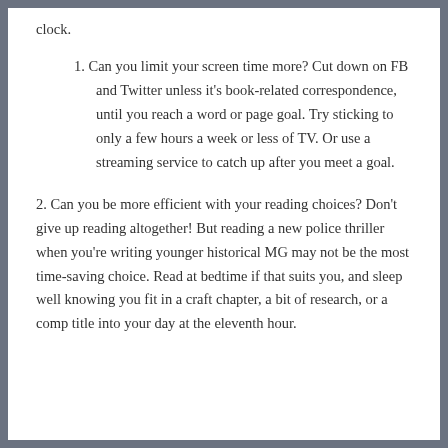clock.
1. Can you limit your screen time more? Cut down on FB and Twitter unless it's book-related correspondence, until you reach a word or page goal. Try sticking to only a few hours a week or less of TV. Or use a streaming service to catch up after you meet a goal.
2. Can you be more efficient with your reading choices? Don't give up reading altogether! But reading a new police thriller when you're writing younger historical MG may not be the most time-saving choice. Read at bedtime if that suits you, and sleep well knowing you fit in a craft chapter, a bit of research, or a comp title into your day at the eleventh hour.